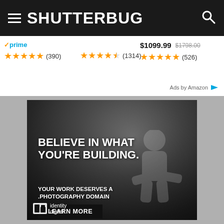SHUTTERBUG
prime ★★★★★ (390)   ★★★★½ (1314)   $1099.99  $1798.00  ★★★★★ (526)
Ads by Amazon
[Figure (photo): Advertisement banner for Identity Digital .photography domain. Black and white photo of a person sitting and thinking. Text reads: BELIEVE IN WHAT YOU'RE BUILDING. YOUR WORK DESERVES A .PHOTOGRAPHY DOMAIN. LEARN MORE. Logo: identity digital.]